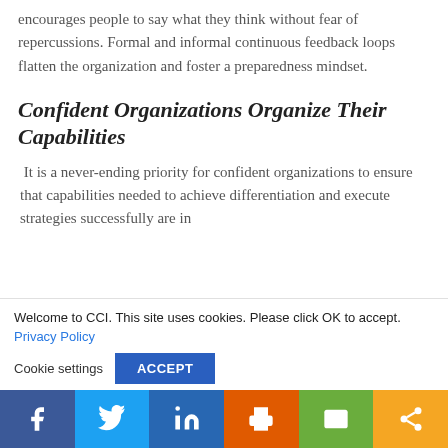encourages people to say what they think without fear of repercussions. Formal and informal continuous feedback loops flatten the organization and foster a preparedness mindset.
Confident Organizations Organize Their Capabilities
It is a never-ending priority for confident organizations to ensure that capabilities needed to achieve differentiation and execute strategies successfully are in
Welcome to CCI. This site uses cookies. Please click OK to accept. Privacy Policy
Cookie settings  ACCEPT